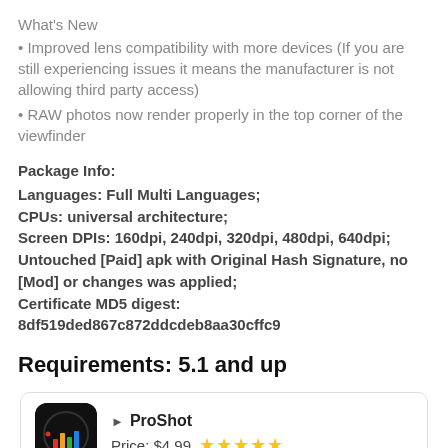What's New
• Improved lens compatibility with more devices (If you are still experiencing issues it means the manufacturer is not allowing third party access)
• RAW photos now render properly in the top corner of the viewfinder
Package Info:
Languages: Full Multi Languages;
CPUs: universal architecture;
Screen DPIs: 160dpi, 240dpi, 320dpi, 480dpi, 640dpi;
Untouched [Paid] apk with Original Hash Signature, no [Mod] or changes was applied;
Certificate MD5 digest: 8df519ded867c872ddcdeb8aa30cffc9
Requirements: 5.1 and up
[Figure (other): App card showing ProShot app icon (black background with colorful bar chart), play arrow icon, app name ProShot, price $4.99, and 5 gold stars rating]